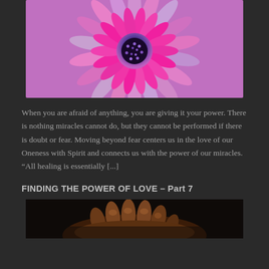[Figure (photo): Close-up macro photo of a pink and purple daisy/gerbera flower with vivid petals radiating outward, dark center with blue-purple tones]
When you are afraid of anything, you are giving it your power. There is nothing miracles cannot do, but they cannot be performed if there is doubt or fear. Moving beyond fear centers us in the love of our Oneness with Spirit and connects us with the power of our miracles. “All healing is essentially [...]
FINDING THE POWER OF LOVE – Part 7
[Figure (photo): Close-up photo of hands cupped together, held open upward against a dark background, warm skin tones]